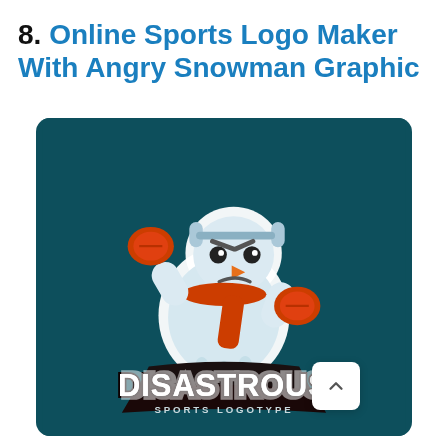8. Online Sports Logo Maker With Angry Snowman Graphic
[Figure (logo): Sports logo on a dark teal background featuring an angry snowman mascot with boxing gloves, earmuffs, and an orange scarf. Below the mascot is text reading 'DISASTROUS SPORTS LOGOTYPE' in a bold stylized font with a white outline.]